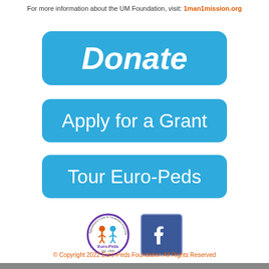For more information about the UM Foundation, visit: 1man1mission.org
[Figure (other): Blue rounded rectangle button with italic bold white text 'Donate']
[Figure (other): Blue rounded rectangle button with white text 'Apply for a Grant']
[Figure (other): Blue rounded rectangle button with white text 'Tour Euro-Peds']
[Figure (logo): Euro-Peds logo circle with children figures and text 'Euro-Péds Est. 1999']
[Figure (logo): Facebook logo blue square with white 'f']
© Copyright 2022 Euro-Peds Foundation All Rights Reserved